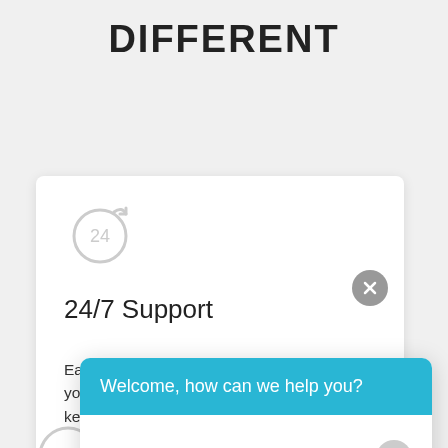DIFFERENT
[Figure (screenshot): White card UI element showing a 24-hour refresh/clock icon, '24/7 Support' heading, descriptive text about Eagle's Wings Technologies, and a blue chat popup overlay with 'Welcome, how can we help you?' header and a message input field.]